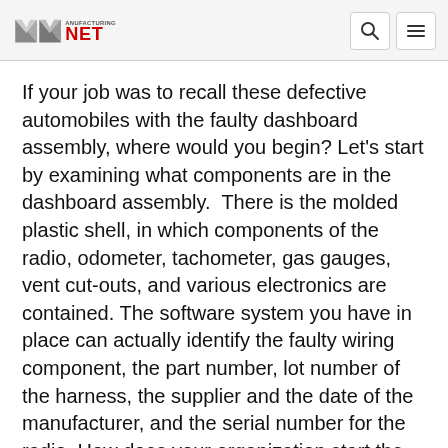Manufacturing.net
If your job was to recall these defective automobiles with the faulty dashboard assembly, where would you begin? Let’s start by examining what components are in the dashboard assembly. There is the molded plastic shell, in which components of the radio, odometer, tachometer, gas gauges, vent cut-outs, and various electronics are contained. The software system you have in place can actually identify the faulty wiring component, the part number, lot number of the harness, the supplier and the date of the manufacturer, and the serial number for the radio. How does your organization start the recall to reverse the logistics processes that distributed the automobiles in the first place? In the process you need to identify...